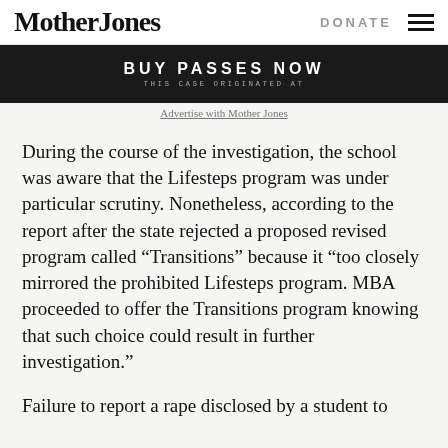Mother Jones | DONATE
[Figure (photo): Advertisement banner with text 'BUY PASSES NOW' and 'THIS CASE ORIGINATED AT' on a dark background]
Advertise with Mother Jones
During the course of the investigation, the school was aware that the Lifesteps program was under particular scrutiny. Nonetheless, according to the report after the state rejected a proposed revised program called “Transitions” because it “too closely mirrored the prohibited Lifesteps program. MBA proceeded to offer the Transitions program knowing that such choice could result in further investigation.”
Failure to report a rape disclosed by a student to